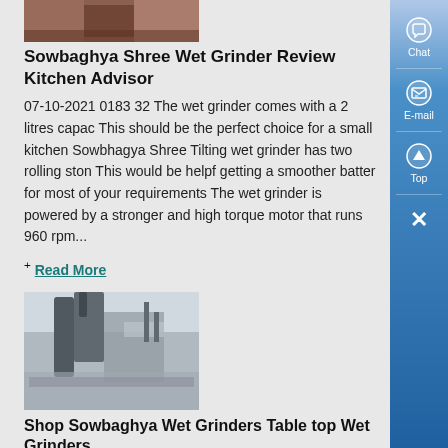[Figure (photo): Top image of material/grinder-related scene, partially visible at top left]
Sowbaghya Shree Wet Grinder Review Kitchen Advisor
07-10-2021 0183 32 The wet grinder comes with a 2 litres capac This should be the perfect choice for a small kitchen Sowbhagya Shree Tilting wet grinder has two rolling ston This would be helpf getting a smoother batter for most of your requirements The wet grinder is powered by a stronger and high torque motor that runs 960 rpm...
+ Read More
[Figure (photo): Industrial machinery or grinder equipment at a facility, outdoor scene]
Shop Sowbaghya Wet Grinders Table top Wet Grinders ,
SKAP-Sowbaghya Shree Tilting Wet Grinder-2 Litre 40000 2509 Sale Add To Cart Quick View Out of Stock SKAP-Sowbaghya